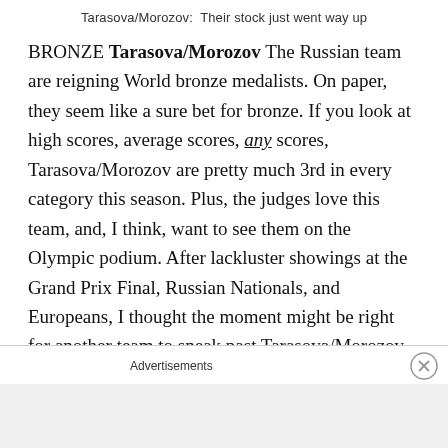Tarasova/Morozov:  Their stock just went way up
BRONZE Tarasova/Morozov The Russian team are reigning World bronze medalists. On paper, they seem like a sure bet for bronze. If you look at high scores, average scores, any scores, Tarasova/Morozov are pretty much 3rd in every category this season. Plus, the judges love this team, and, I think, want to see them on the Olympic podium. After lackluster showings at the Grand Prix Final, Russian Nationals, and Europeans, I thought the moment might be right for another team to sneak past Tarasova/Morozov and onto the podium. But then Tarasova/Morozov came out and skated the best
Advertisements